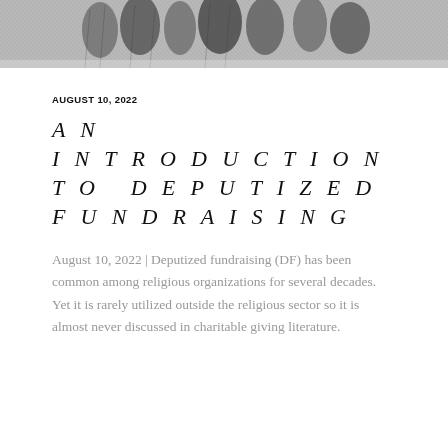[Figure (illustration): Black and white engraving/illustration of robed figures, appearing to be a religious or historical scene with multiple people in flowing garments.]
AUGUST 10, 2022
AN INTRODUCTION TO DEPUTIZED FUNDRAISING
August 10, 2022 | Deputized fundraising (DF) has been common among religious organizations for several decades. Yet it is rarely utilized outside the religious sector so it is almost never discussed in charitable giving literature.